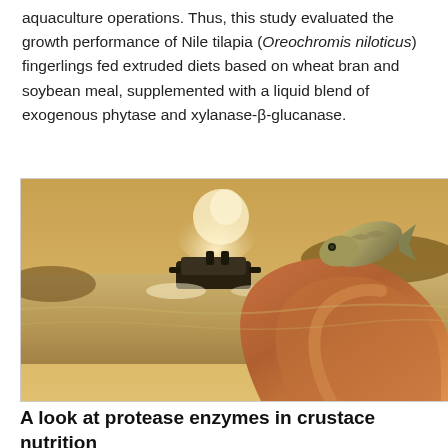aquaculture operations. Thus, this study evaluated the growth performance of Nile tilapia (Oreochromis niloticus) fingerlings fed extruded diets based on wheat bran and soybean meal, supplemented with a liquid blend of exogenous phytase and xylanase-β-glucanase.
[Figure (photo): Photo showing an aquaculture pond with an aerator machine spraying water, and a hand holding a small Nile tilapia fingerling fish in the foreground.]
A look at protease enzymes in crustacean nutrition